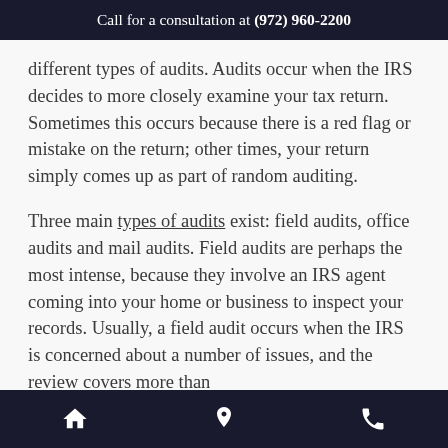Call for a consultation at (972) 960-2200
different types of audits. Audits occur when the IRS decides to more closely examine your tax return. Sometimes this occurs because there is a red flag or mistake on the return; other times, your return simply comes up as part of random auditing.
Three main types of audits exist: field audits, office audits and mail audits. Field audits are perhaps the most intense, because they involve an IRS agent coming into your home or business to inspect your records. Usually, a field audit occurs when the IRS is concerned about a number of issues, and the review covers more than
[home icon] [location icon] [phone icon]